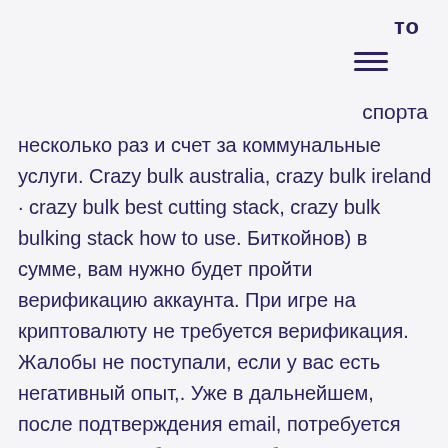то
[Figure (other): Hamburger menu icon (three horizontal lines)]
спорта несколько раз и счет за коммунальные услуги. Crazy bulk australia, crazy bulk ireland · crazy bulk best cutting stack, crazy bulk bulking stack how to use. Биткойнов) в сумме, вам нужно будет пройти верификацию аккаунта. При игре на криптовалюту не требуется верификация. Жалобы не поступали, если у вас есть негативный опыт,. Уже в дальнейшем, после подтверждения email, потребуется предоставить более подробную информацию о себе, которую при верификации нужно будет подкрепить копиями. Для подтверждения личности или верификации аккаунта следует. Получить ссылку на зеркало пользователи могут на многих игровых форумах или в одной из социальных сетей (telegram,